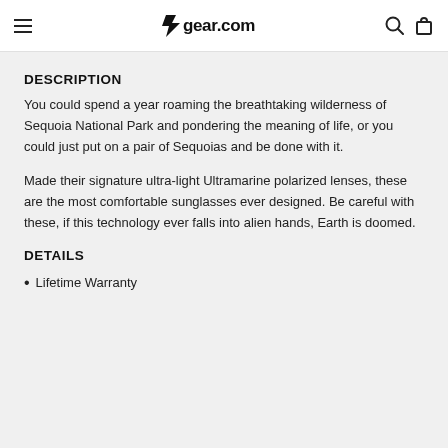gear.com
DESCRIPTION
You could spend a year roaming the breathtaking wilderness of Sequoia National Park and pondering the meaning of life, or you could just put on a pair of Sequoias and be done with it.
Made their signature ultra-light Ultramarine polarized lenses, these are the most comfortable sunglasses ever designed. Be careful with these, if this technology ever falls into alien hands, Earth is doomed.
DETAILS
Lifetime Warranty